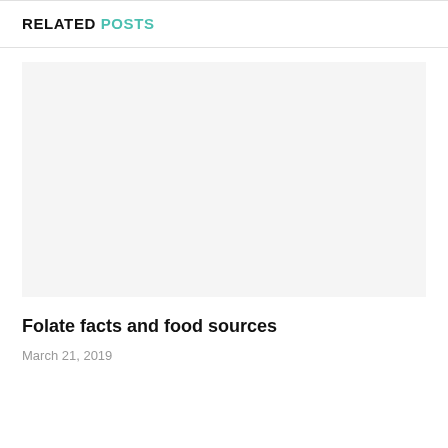RELATED POSTS
[Figure (photo): Blank/placeholder image for related post about folate facts and food sources]
Folate facts and food sources
March 21, 2019